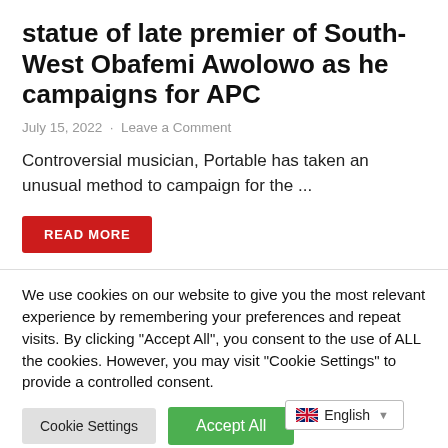statue of late premier of South-West Obafemi Awolowo as he campaigns for APC
July 15, 2022  ·  Leave a Comment
Controversial musician, Portable has taken an unusual method to campaign for the ...
READ MORE
We use cookies on our website to give you the most relevant experience by remembering your preferences and repeat visits. By clicking "Accept All", you consent to the use of ALL the cookies. However, you may visit "Cookie Settings" to provide a controlled consent.
Cookie Settings | Accept All | English